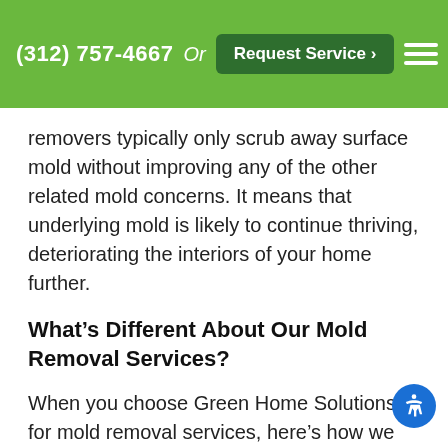(312) 757-4667  Or  Request Service >
removers typically only scrub away surface mold without improving any of the other related mold concerns. It means that underlying mold is likely to continue thriving, deteriorating the interiors of your home further.
What’s Different About Our Mold Removal Services?
When you choose Green Home Solutions for mold removal services, here’s how we set ourselves apart from